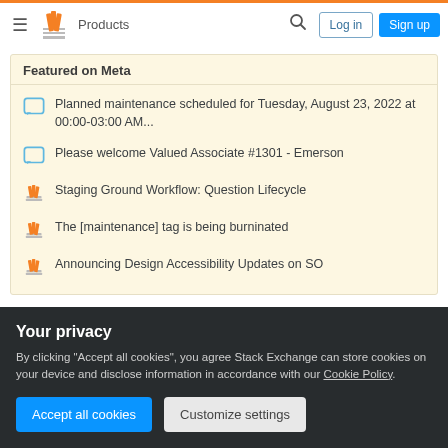Stack Overflow navigation bar with hamburger menu, logo, Products, search icon, Log in, Sign up buttons
Featured on Meta
Planned maintenance scheduled for Tuesday, August 23, 2022 at 00:00-03:00 AM...
Please welcome Valued Associate #1301 - Emerson
Staging Ground Workflow: Question Lifecycle
The [maintenance] tag is being burninated
Announcing Design Accessibility Updates on SO
Your privacy
By clicking "Accept all cookies", you agree Stack Exchange can store cookies on your device and disclose information in accordance with our Cookie Policy.
Accept all cookies | Customize settings